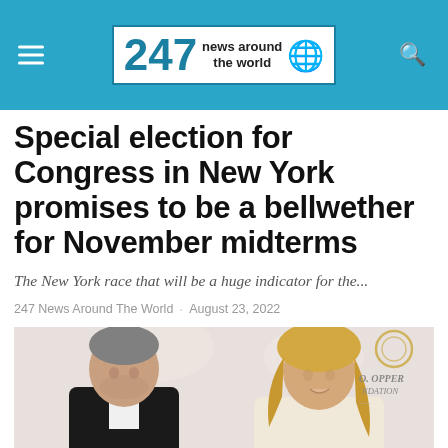247 News Around the World
Special election for Congress in New York promises to be a bellwether for November midterms
The New York race that will be a huge indicator for the...
247 News Around The World · August 23, 2022
[Figure (photo): Two people at a formal event, man in tuxedo on the left with grey hair, woman with blonde hair on the right, O. Opper Foundation backdrop visible in background]